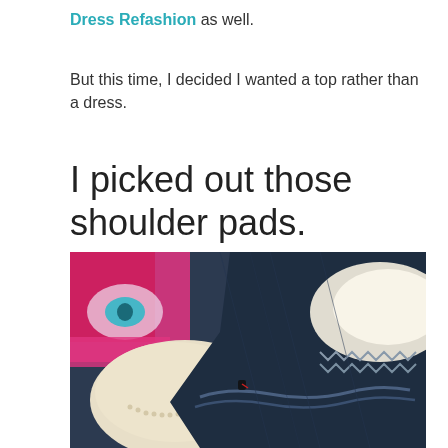Dress Refashion as well.
But this time, I decided I wanted a top rather than a dress.
I picked out those shoulder pads.
[Figure (photo): Close-up photo of shoulder pads and navy blue fabric with serged edges, with colorful patterned fabric visible in background.]